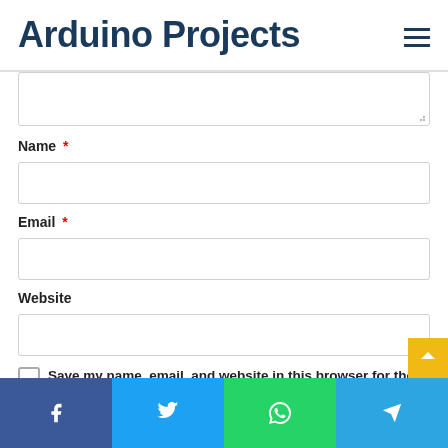Arduino Projects
[Comment textarea — partially visible, top cut off]
Name *
Email *
Website
Save my name, email, and website in this browser for the next time I comment.